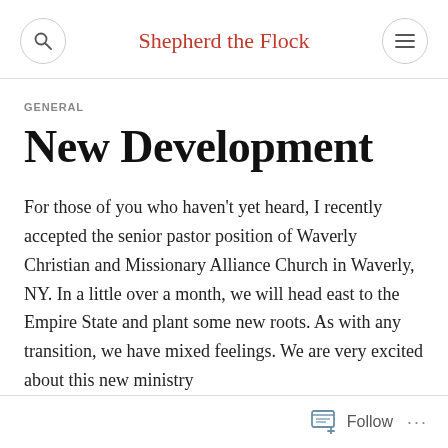Shepherd the Flock
GENERAL
New Development
For those of you who haven't yet heard, I recently accepted the senior pastor position of Waverly Christian and Missionary Alliance Church in Waverly, NY. In a little over a month, we will head east to the Empire State and plant some new roots. As with any transition, we have mixed feelings. We are very excited about this new ministry
Follow ...